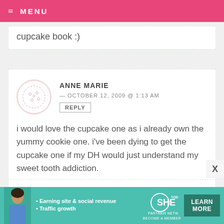MENU
cupcake book :)
ANNE MARIE — OCTOBER 12, 2009 @ 1:13 AM
REPLY
i would love the cupcake one as i already own the yummy cookie one. i've been dying to get the cupcake one if my DH would just understand my sweet tooth addiction.
[Figure (infographic): SHE Partner Network advertisement banner with woman photo, bullets for Earning site & social revenue and Traffic growth, SHE logo, and Learn More button]